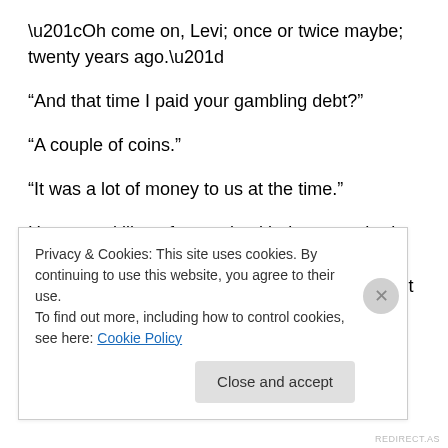“Oh come on, Levi; once or twice maybe; twenty years ago.”
“And that time I paid your gambling debt?”
“A couple of coins.”
“It was a lot of money to us at the time.”
He grunted like a farm animal being scratched. People like to be teased, if you’re not too harsh. It builds friendship and memories. “You’ll make it back, and more, as a tax collector.”
Privacy & Cookies: This site uses cookies. By continuing to use this website, you agree to their use.
To find out more, including how to control cookies, see here: Cookie Policy